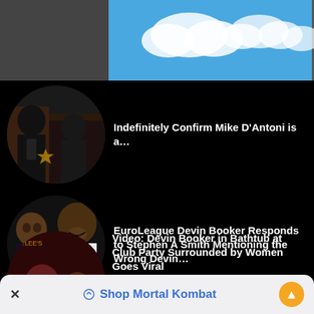[Figure (screenshot): Ad banner with blue sky and cloud illustration at top of page]
Indefinitely Confirm Mike D'Antoni is a…
EuroLeague Devin Booker Responds to Stephen A Smith Mentioning the Wrong Devin…
Video: Devin Booker in Bathtub at Club Party Surrounded by Women Goes Viral
Shop Mortal Kombat